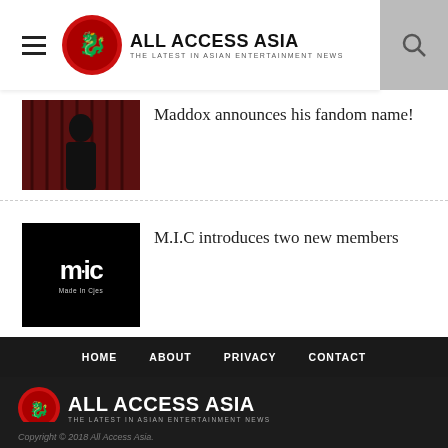ALL ACCESS ASIA — THE LATEST IN ASIAN ENTERTAINMENT NEWS
Maddox announces his fandom name!
M.I.C introduces two new members
HOME   ABOUT   PRIVACY   CONTACT
[Figure (logo): All Access Asia logo with dragon emblem — THE LATEST IN ASIAN ENTERTAINMENT NEWS]
[Figure (infographic): Social media icons: Facebook, Twitter, Instagram, RSS]
Copyright © 2018 All Access Asia.